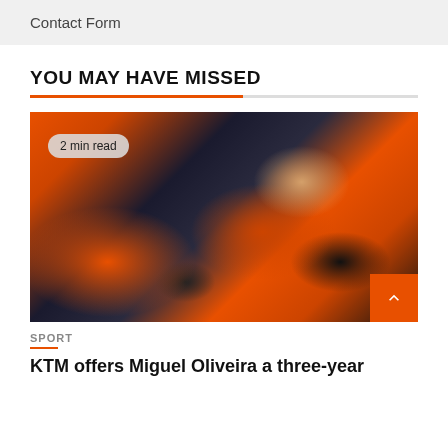Contact Form
YOU MAY HAVE MISSED
[Figure (photo): MotoGP rider in orange and black KTM Red Bull racing leathers, sitting thoughtfully with hand near chin, in a paddock/garage setting. Badge overlay reads '2 min read'.]
SPORT
KTM offers Miguel Oliveira a three-year